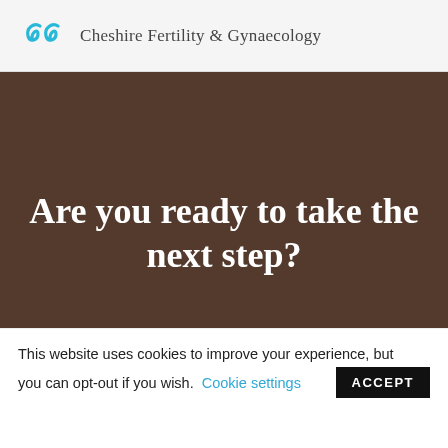Cheshire Fertility & Gynaecology
Are you ready to take the next step?
MAKE AN APPOINTMENT
REQUEST CALL BACK
This website uses cookies to improve your experience, but you can opt-out if you wish. Cookie settings ACCEPT